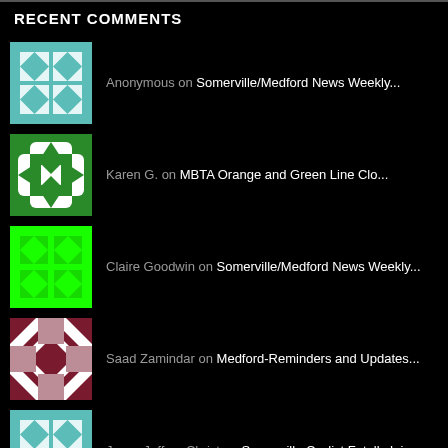RECENT COMMENTS
Anonymous on Somerville/Medford News Weekly...
Karen G. on MBTA Orange and Green Line Clo...
Claire Goodwin on Somerville/Medford News Weekly...
Saad Zamindar on Medford-Reminders and Updates...
Jesus Jeffrey Christ on Somerville Cyclist Fatally Inj...
Terrier Hub on Somerville Police Investigatin...
Terrier Hub on Somerville Dog Festival 2017